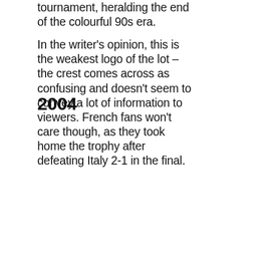tournament, heralding the end of the colourful 90s era.
In the writer's opinion, this is the weakest logo of the lot – the crest comes across as confusing and doesn't seem to convey a lot of information to viewers. French fans won't care though, as they took home the trophy after defeating Italy 2-1 in the final.
2004